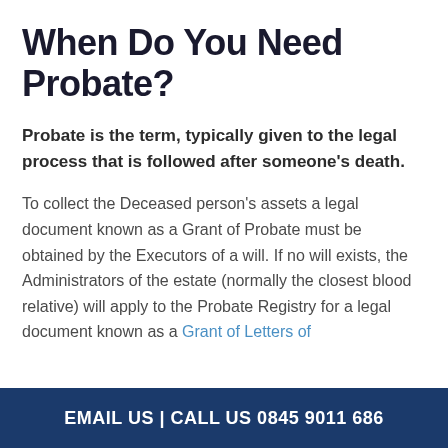When Do You Need Probate?
Probate is the term, typically given to the legal process that is followed after someone's death.
To collect the Deceased person's assets a legal document known as a Grant of Probate must be obtained by the Executors of a will. If no will exists, the Administrators of the estate (normally the closest blood relative) will apply to the Probate Registry for a legal document known as a Grant of Letters of
EMAIL US | CALL US 0845 9011 686